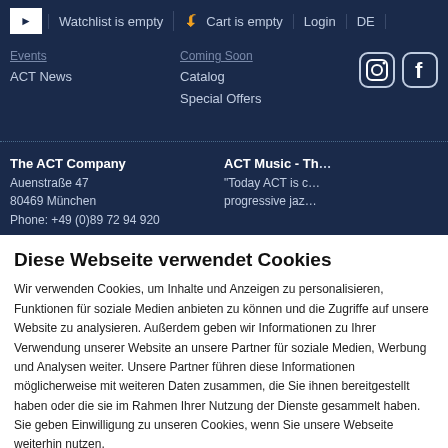Watchlist is empty | Cart is empty | Login | DE
ACT News | Catalog | Special Offers
The ACT Company
Auenstraße 47
80469 München
Phone: +49 (0)89 72 94 920
ACT Music - Th…
"Today ACT is c… progressive jaz…
Diese Webseite verwendet Cookies
Wir verwenden Cookies, um Inhalte und Anzeigen zu personalisieren, Funktionen für soziale Medien anbieten zu können und die Zugriffe auf unsere Website zu analysieren. Außerdem geben wir Informationen zu Ihrer Verwendung unserer Website an unsere Partner für soziale Medien, Werbung und Analysen weiter. Unsere Partner führen diese Informationen möglicherweise mit weiteren Daten zusammen, die Sie ihnen bereitgestellt haben oder die sie im Rahmen Ihrer Nutzung der Dienste gesammelt haben. Sie geben Einwilligung zu unseren Cookies, wenn Sie unsere Webseite weiterhin nutzen.
Auswahl bestätigen | Alle akzeptieren